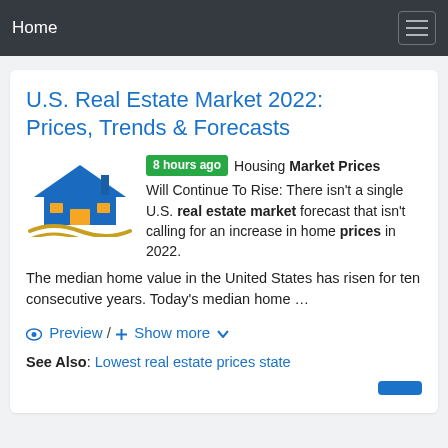Home
U.S. Real Estate Market 2022: Prices, Trends & Forecasts
8 hours ago Housing Market Prices Will Continue To Rise: There isn't a single U.S. real estate market forecast that isn't calling for an increase in home prices in 2022. The median home value in the United States has risen for ten consecutive years. Today's median home …
Preview / + Show more
See Also: Lowest real estate prices state